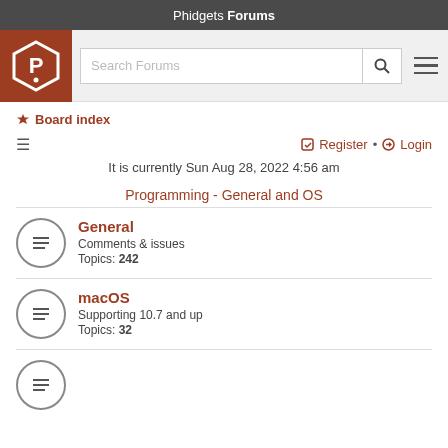Phidgets Forums
[Figure (logo): Phidgets hexagon logo with stylized P in white on brown background]
Search Forums
Board index
Register • Login
It is currently Sun Aug 28, 2022 4:56 am
Programming - General and OS
General
Comments & issues
Topics: 242
macOS
Supporting 10.7 and up
Topics: 32